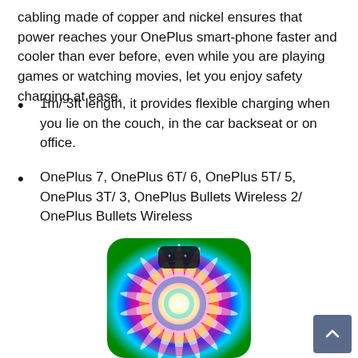cabling made of copper and nickel ensures that power reaches your OnePlus smart-phone faster and cooler than ever before, even while you are playing games or watching movies, let you enjoy safety charging at ease.
1m/ 3ft length, it provides flexible charging when you lie on the couch, in the car backseat or on office.
OnePlus 7, OnePlus 6T/ 6, OnePlus 5T/ 5, OnePlus 3T/ 3, OnePlus Bullets Wireless 2/ OnePlus Bullets Wireless
[Figure (photo): A smartphone case with a colorful psychedelic sunburst/optical illusion pattern in rainbow colors (pink, yellow, blue, green, red), with a dual camera cutout visible at the top center.]